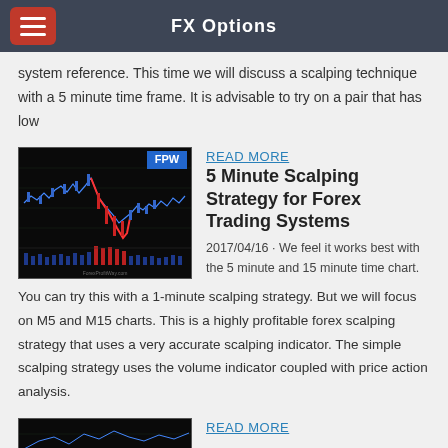FX Options
system reference. This time we will discuss a scalping technique with a 5 minute time frame. It is advisable to try on a pair that has low
[Figure (screenshot): Forex trading chart screenshot with candlestick price action and volume indicator, labeled FPW (ForexProfitWay.com)]
READ MORE
5 Minute Scalping Strategy for Forex Trading Systems
2017/04/16 · We feel it works best with the 5 minute and 15 minute time chart. You can try this with a 1-minute scalping strategy. But we will focus on M5 and M15 charts. This is a highly profitable forex scalping strategy that uses a very accurate scalping indicator. The simple scalping strategy uses the volume indicator coupled with price action analysis.
[Figure (screenshot): Forex trading chart screenshot at bottom of page]
READ MORE